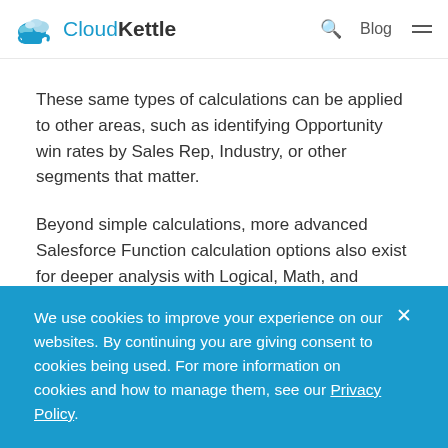CloudKettle   Blog
These same types of calculations can be applied to other areas, such as identifying Opportunity win rates by Sales Rep, Industry, or other segments that matter.
Beyond simple calculations, more advanced Salesforce Function calculation options also exist for deeper analysis with Logical, Math, and Summary capabilities.
We use cookies to improve your experience on our websites. By continuing you are giving consent to cookies being used. For more information on cookies and how to manage them, see our Privacy Policy.